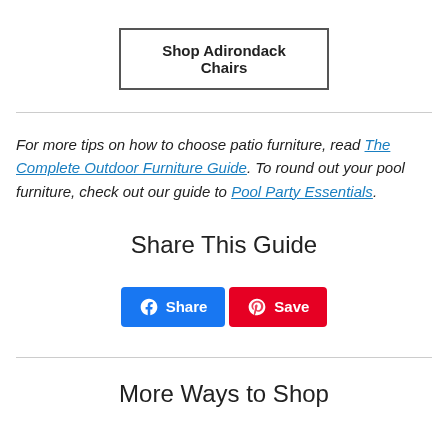Shop Adirondack Chairs
For more tips on how to choose patio furniture, read The Complete Outdoor Furniture Guide. To round out your pool furniture, check out our guide to Pool Party Essentials.
Share This Guide
[Figure (other): Facebook Share button and Pinterest Save button]
More Ways to Shop